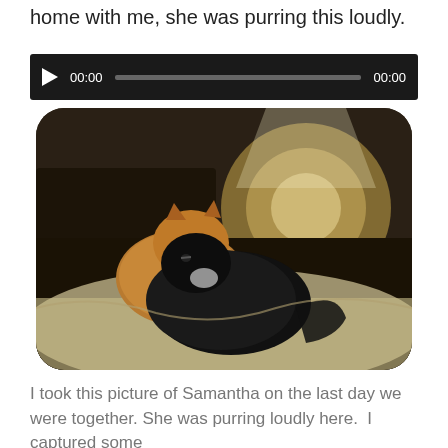home with me, she was purring this loudly.
[Figure (screenshot): Audio player widget with dark background, play button, timestamp 00:00 on left, progress bar, and 00:00 on right]
[Figure (photo): Photo of two cats sleeping together on a blanket, one orange/tan cat and one black cat, with a large round object in background. Image has rounded corners.]
I took this picture of Samantha on the last day we were together. She was purring loudly here.  I captured some